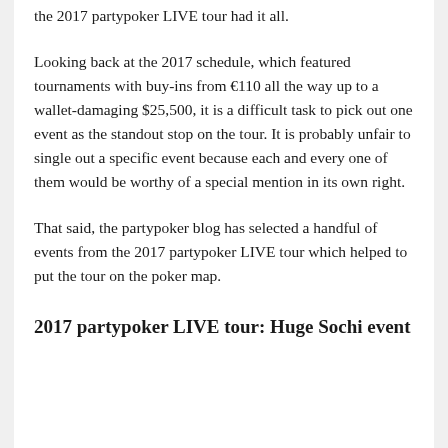the 2017 partypoker LIVE tour had it all.
Looking back at the 2017 schedule, which featured tournaments with buy-ins from €110 all the way up to a wallet-damaging $25,500, it is a difficult task to pick out one event as the standout stop on the tour. It is probably unfair to single out a specific event because each and every one of them would be worthy of a special mention in its own right.
That said, the partypoker blog has selected a handful of events from the 2017 partypoker LIVE tour which helped to put the tour on the poker map.
2017 partypoker LIVE tour: Huge Sochi event